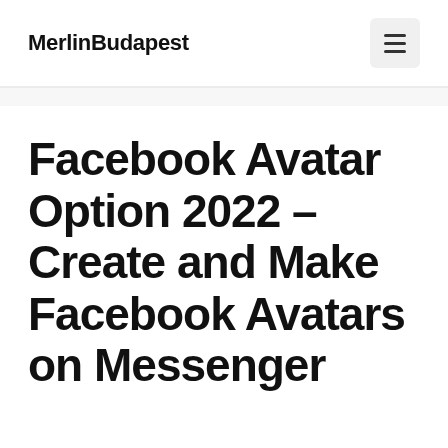MerlinBudapest
Facebook Avatar Option 2022 – Create and Make Facebook Avatars on Messenger